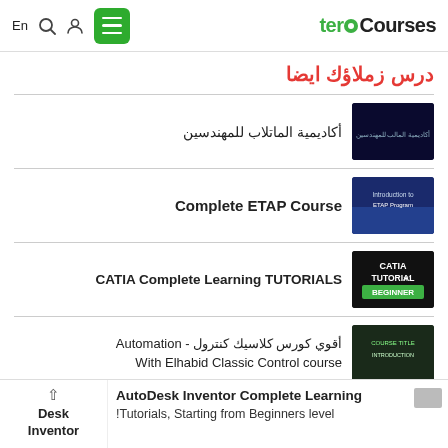En | [search icon] [user icon] [menu] teroCourses
درس زملاؤك ايضا
أكاديمية الماتلاب للمهندسين
Complete ETAP Course
CATIA Complete Learning TUTORIALS
أقوي كورس كلاسيك كنترول - Automation With Elhabid Classic Control course
AutoDesk Inventor Complete Learning !Tutorials, Starting from Beginners level